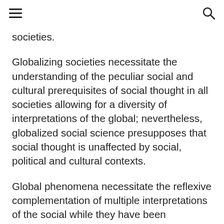≡  🔍
societies.
Globalizing societies necessitate the understanding of the peculiar social and cultural prerequisites of social thought in all societies allowing for a diversity of interpretations of the global; nevertheless, globalized social science presupposes that social thought is unaffected by social, political and cultural contexts.
Global phenomena necessitate the reflexive complementation of multiple interpretations of the social while they have been historically constituted on the reflexive hegemony of